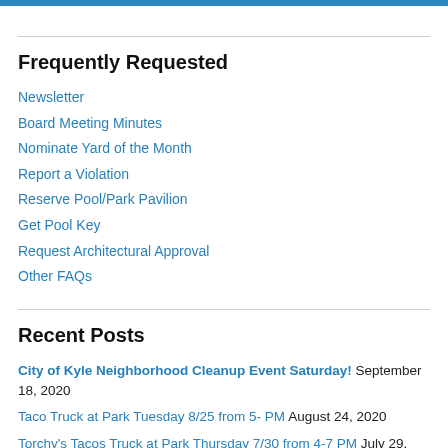Frequently Requested
Newsletter
Board Meeting Minutes
Nominate Yard of the Month
Report a Violation
Reserve Pool/Park Pavilion
Get Pool Key
Request Architectural Approval
Other FAQs
Recent Posts
City of Kyle Neighborhood Cleanup Event Saturday! September 18, 2020
Taco Truck at Park Tuesday 8/25 from 5- PM August 24, 2020
Torchy's Tacos Truck at Park Thursday 7/30 from 4-7 PM July 29, 2020